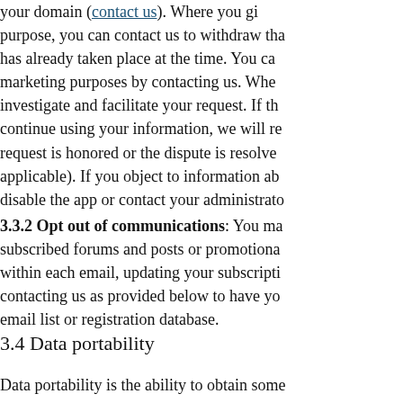your domain (contact us). Where you give purpose, you can contact us to withdraw that has already taken place at the time. You can marketing purposes by contacting us. Where investigate and facilitate your request. If the continue using your information, we will re request is honored or the dispute is resolved applicable). If you object to information abo disable the app or contact your administrator
3.3.2 Opt out of communications: You ma subscribed forums and posts or promotiona within each email, updating your subscripti contacting us as provided below to have yo email list or registration database.
3.4 Data portability
Data portability is the ability to obtain some